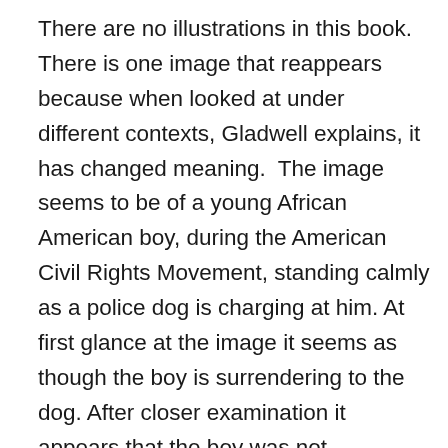There are no illustrations in this book. There is one image that reappears because when looked at under different contexts, Gladwell explains, it has changed meaning.  The image seems to be of a young African American boy, during the American Civil Rights Movement, standing calmly as a police dog is charging at him. At first glance at the image it seems as though the boy is surrendering to the dog. After closer examination it appears that the boy was not surrendering, he was defending himself by pushing the dog back with his leg. Although the boy seemed to be helpless in that situation he thought quickly, protected himself, and made the police look as if they were completely heartless in the eyes of the media. Although the boy had the underhand, he made the best of the situation; additionally the photograph attracted a lot of attention from the media making him seem like a